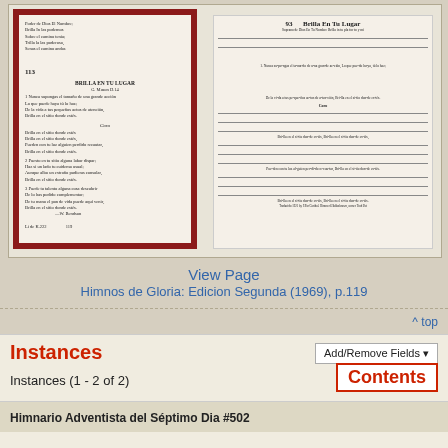[Figure (illustration): Two hymnal book pages shown side by side. Left page (with dark red/crimson border) shows hymn 113 'Brilla En Tu Lugar' with Spanish lyrics. Right page shows the same hymn with musical notation staff lines.]
View Page
Himnos de Gloria: Edicion Segunda (1969), p.119
^ top
Instances
Instances (1 - 2 of 2)
Add/Remove Fields ▼
Contents
Himnario Adventista del Séptimo Dia #502